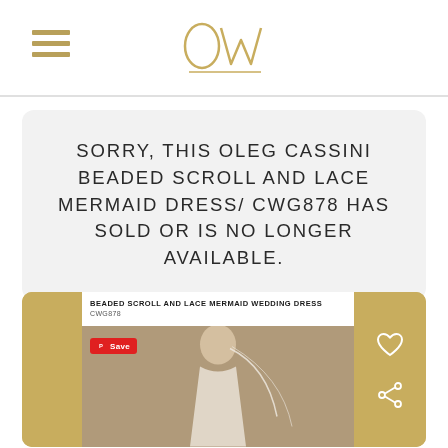OW (Oleg Cassini logo with hamburger menu)
SORRY, THIS OLEG CASSINI BEADED SCROLL AND LACE MERMAID DRESS/ CWG878 HAS SOLD OR IS NO LONGER AVAILABLE.
[Figure (screenshot): Product card showing 'BEADED SCROLL AND LACE MERMAID WEDDING DRESS CWG878' with a photo of a bride in a lace mermaid wedding dress with a veil, framed by gold side panels. A Pinterest 'Save' button overlay is visible. Heart and share icons on the gold right panel.]